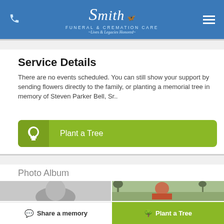[Figure (logo): Smith Funeral & Cremation Care logo — stylized script 'Smith' with butterfly, subtitle 'Funeral & Cremation Care', tagline 'Lives & Legacies Honored', white on blue header background]
Service Details
There are no events scheduled. You can still show your support by sending flowers directly to the family, or planting a memorial tree in memory of Steven Parker Bell, Sr..
[Figure (other): Green 'Plant a Tree' button with white tree icon on left]
Photo Album
[Figure (photo): Black and white photo of a person's head/face]
[Figure (photo): Color outdoor photo of a person smiling with trees in background]
Share a memory
Plant a Tree